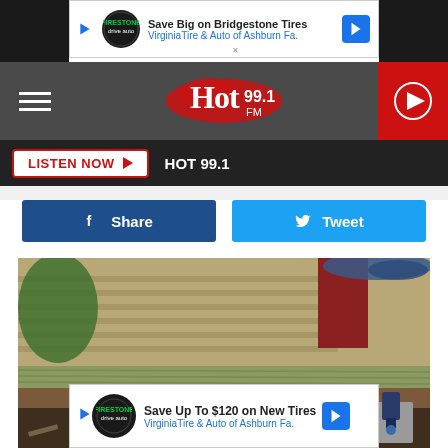[Figure (screenshot): Advertisement banner: Save Big on Bridgestone Tires - Virginia Tire & Auto of Ashburn Fa.]
[Figure (logo): Hot 99.1 FM radio station logo in header navigation bar with hamburger menu and play button]
LISTEN NOW ▶  HOT 99.1
[Figure (other): Facebook Share button and Twitter Tweet button]
[Figure (photo): House being lifted or foundation repair work showing wooden beams supported by hydraulic jacks on concrete blocks]
[Figure (screenshot): Advertisement banner: Save Up To $120 on New Tires - Virginia Tire & Auto of Ashburn Fa.]